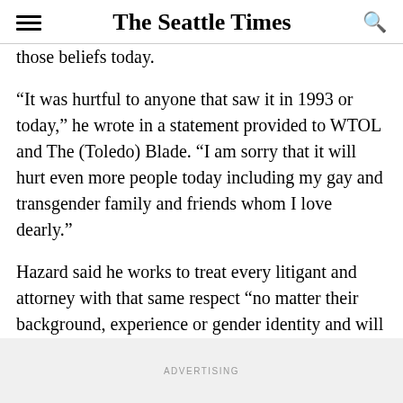The Seattle Times
those beliefs today.
“It was hurtful to anyone that saw it in 1993 or today,” he wrote in a statement provided to WTOL and The (Toledo) Blade. “I am sorry that it will hurt even more people today including my gay and transgender family and friends whom I love dearly.”
Hazard said he works to treat every litigant and attorney with that same respect “no matter their background, experience or gender identity and will continue to do so.”
ADVERTISING